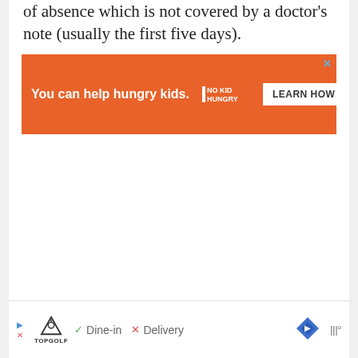of absence which is not covered by a doctor's note (usually the first five days).
[Figure (screenshot): Orange advertisement banner reading 'You can help hungry kids.' with No Kid Hungry logo and 'LEARN HOW' button, with a blue X close button in top right corner.]
[Figure (screenshot): Bottom advertisement bar showing Topgolf logo, Dine-in with green checkmark, Delivery with red X, map direction icon, and weather widget icon.]